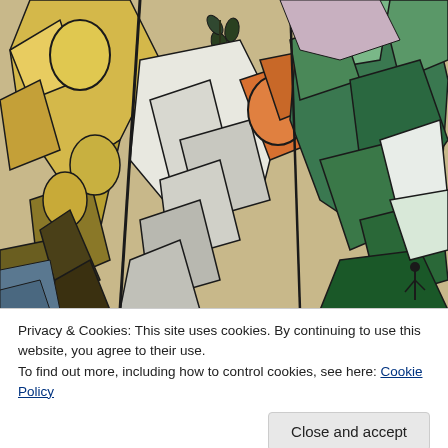[Figure (illustration): Cubist-style painting with abstract human figures rendered in geometric shapes. Colors include yellow, green, white, orange, and dark brown/black outlines. Figures appear interlocked in a complex, fragmented composition reminiscent of Marc Chagall or Fernand Léger's cubist style.]
Privacy & Cookies: This site uses cookies. By continuing to use this website, you agree to their use.
To find out more, including how to control cookies, see here: Cookie Policy
Close and accept
Secondary Altriciality and Culture